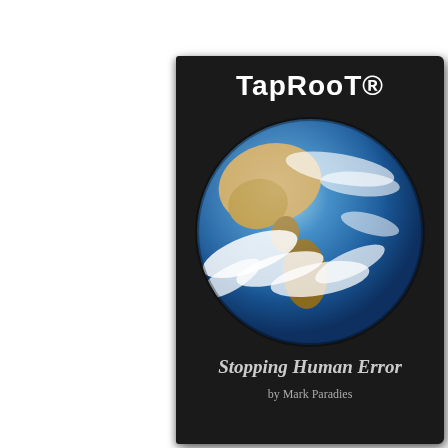[Figure (photo): Book cover of TapRooT® Stopping Human Error by Mark Paradies. Dark/black cover with a large photograph of Earth (globe) in the center, white title text at top, italic subtitle at bottom.]
TapRooT®
Stopping Human Error
by Mark Paradies